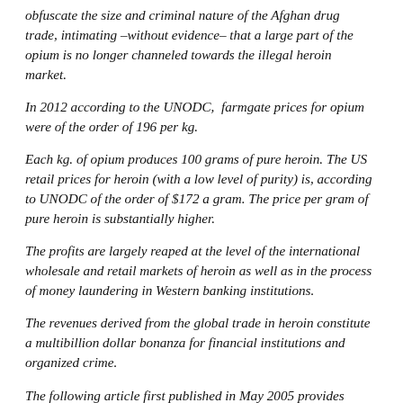obfuscate the size and criminal nature of the Afghan drug trade, intimating –without evidence– that a large part of the opium is no longer channeled towards the illegal heroin market.
In 2012 according to the UNODC, farmgate prices for opium were of the order of 196 per kg.
Each kg. of opium produces 100 grams of pure heroin. The US retail prices for heroin (with a low level of purity) is, according to UNODC of the order of $172 a gram. The price per gram of pure heroin is substantially higher.
The profits are largely reaped at the level of the international wholesale and retail markets of heroin as well as in the process of money laundering in Western banking institutions.
The revenues derived from the global trade in heroin constitute a multibillion dollar bonanza for financial institutions and organized crime.
The following article first published in May 2005 provides...